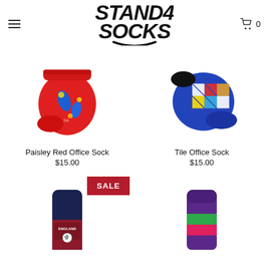[Figure (logo): Stand 4 Socks logo in bold black handwritten font with shopping cart icon and hamburger menu]
[Figure (photo): Paisley Red Office Sock - red no-show sock with paisley pattern, blue and yellow details]
Paisley Red Office Sock
$15.00
[Figure (photo): Tile Office Sock - blue no-show sock with geometric multicolor tile pattern]
Tile Office Sock
$15.00
[Figure (photo): England soccer themed sock, dark blue and red with ENGLAND soccer logo, SALE badge]
[Figure (photo): Colorful striped sock with purple, green, and pink horizontal stripes]